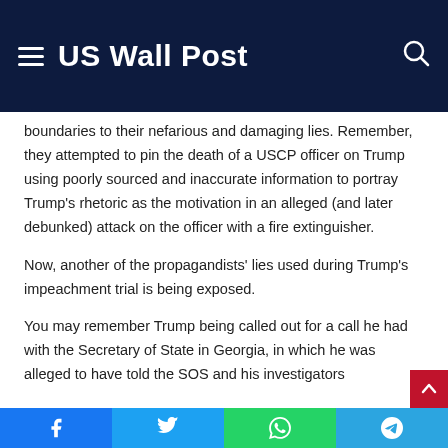US Wall Post
boundaries to their nefarious and damaging lies. Remember, they attempted to pin the death of a USCP officer on Trump using poorly sourced and inaccurate information to portray Trump's rhetoric as the motivation in an alleged (and later debunked) attack on the officer with a fire extinguisher.
Now, another of the propagandists' lies used during Trump's impeachment trial is being exposed.
You may remember Trump being called out for a call he had with the Secretary of State in Georgia, in which he was alleged to have told the SOS and his investigators